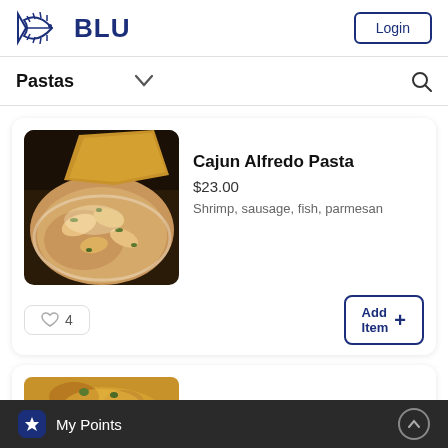BLU Login
Pastas
[Figure (photo): Photo of Cajun Alfredo Pasta dish with shrimp, sausage, fish, and parmesan]
Cajun Alfredo Pasta
$23.00
Shrimp, sausage, fish, parmesan
♡ 4
Add Item +
[Figure (photo): Partial view of second menu item photo]
My Points